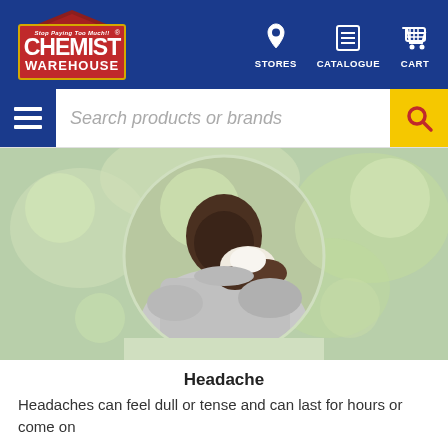Chemist Warehouse — STORES  CATALOGUE  CART
[Figure (screenshot): Search bar with hamburger menu icon and yellow search button, placeholder text: Search products or brands]
[Figure (photo): Circular cropped photo of a man blowing his nose into a tissue, outdoors with blurred green background, wearing a grey sweatshirt]
Headache
Headaches can feel dull or tense and can last for hours or come on